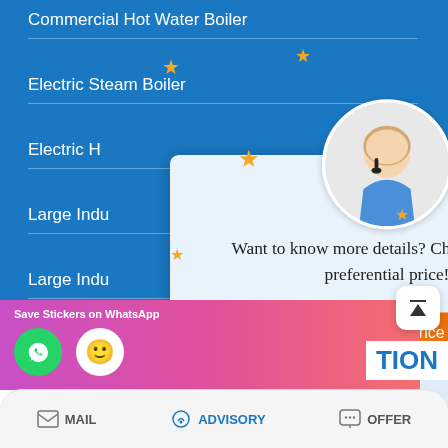Commercial Hot Water Boiler
Electric Steam Boiler
Electric H[ot Water Boiler]
Large Indu[strial Boiler]
Large Indu[strial Boiler]
Gas Vertic[al Boiler]
Gas Condensing Hot Water Boiler
Gas Vacuum Hot Water Boiler
[Figure (screenshot): Chat popup modal with agent photo, stars, text 'Want to know more details? Chat with us for preferential price!' and orange 'Get Latest Price' button]
[Figure (screenshot): WhatsApp sticker save banner with phone and emoji icons]
MAIL | ADVISORY | OFFER